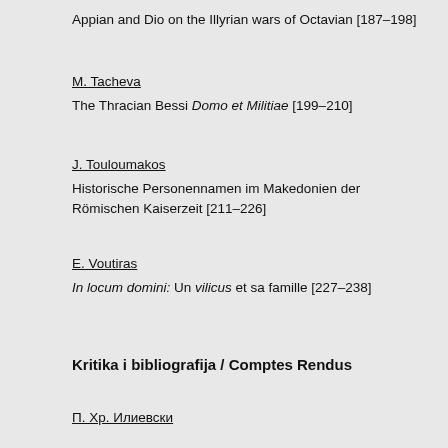Appian and Dio on the Illyrian wars of Octavian [187–198]
M. Tacheva
The Thracian Bessi Domo et Militiae [199–210]
J. Touloumakos
Historische Personennamen im Makedonien der Römischen Kaiserzeit [211–226]
E. Voutiras
In locum domini: Un vilicus et sa famille [227–238]
Kritika i bibliografija / Comptes Rendus
П. Хр. Илиевски